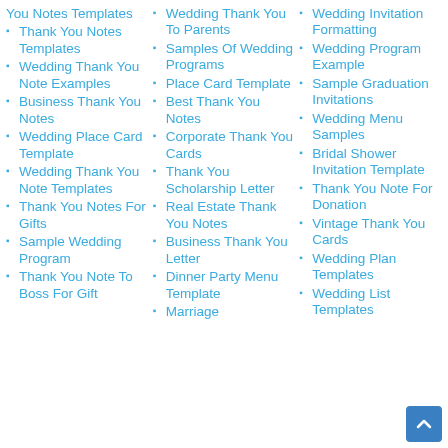You Notes Templates
Thank You Notes Templates
Wedding Thank You Note Examples
Business Thank You Notes
Wedding Place Card Template
Wedding Thank You Note Templates
Thank You Notes For Gifts
Sample Wedding Program
Thank You Note To Boss For Gift
Wedding Thank You To Parents
Samples Of Wedding Programs
Place Card Template
Best Thank You Notes
Corporate Thank You Cards
Thank You Scholarship Letter
Real Estate Thank You Notes
Business Thank You Letter
Dinner Party Menu Template
Marriage
Wedding Invitation Formatting
Wedding Program Example
Sample Graduation Invitations
Wedding Menu Samples
Bridal Shower Invitation Template
Thank You Note For Donation
Vintage Thank You Cards
Wedding Plan Templates
Wedding List Templates